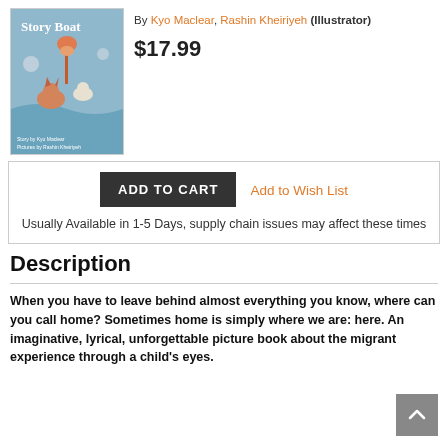[Figure (illustration): Book cover of 'Story Boat' showing illustrated animals and figures on a blue background with a flower]
By Kyo Maclear, Rashin Kheiriyeh (Illustrator)
$17.99
ADD TO CART   Add to Wish List
Usually Available in 1-5 Days, supply chain issues may affect these times
Description
When you have to leave behind almost everything you know, where can you call home? Sometimes home is simply where we are: here. An imaginative, lyrical, unforgettable picture book about the migrant experience through a child's eyes.